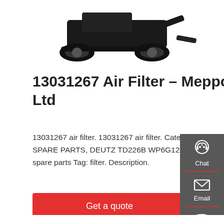[Figure (photo): Top portion of a compact tracked excavator/crawler machine, dark colored, shown from the side, cropped at top of page]
13031267 Air Filter – Meppon Co., Ltd
13031267 air filter. 13031267 air filter. Categories: 1-DIESEL ENGINE SPARE PARTS, DEUTZ TD226B WP6G125 SPARE PARTS, weichai spare parts Tag: filter. Description.
[Figure (other): Red button labeled 'Get a quote']
[Figure (infographic): Dark gray sidebar with Chat (headset icon), Email (envelope icon), and Contact (chat bubble icon) options]
[Figure (photo): Bottom portion of a yellow and black mini excavator with grapple/claw attachment, shown from the side]